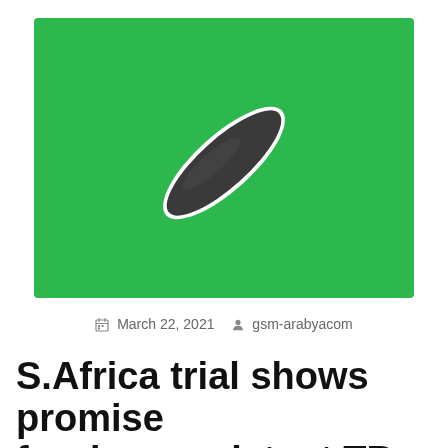[Figure (illustration): Illustration of a bacterium (dark grey elongated rod shape) on a bright green background, representing TB bacteria (Mycobacterium tuberculosis)]
March 22, 2021   gsm-arabyacom
S.Africa trial shows promise for drug-resistant TB